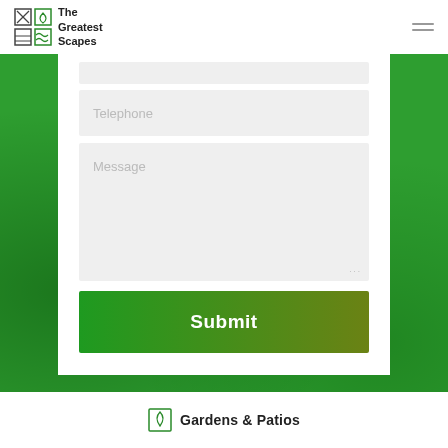[Figure (logo): The Greatest Scapes logo with grid icon and text]
[Figure (screenshot): Contact form with Telephone input, Message textarea, and Submit button on green background]
Gardens & Patios